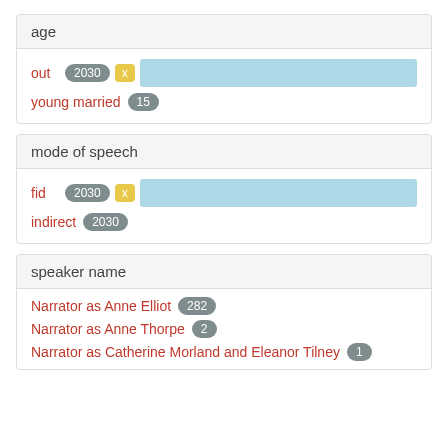age
out 2030 x [bar]
young married 15
mode of speech
fid 2030 x [bar]
indirect 2030
speaker name
Narrator as Anne Elliot 282
Narrator as Anne Thorpe 2
Narrator as Catherine Morland and Eleanor Tilney 1